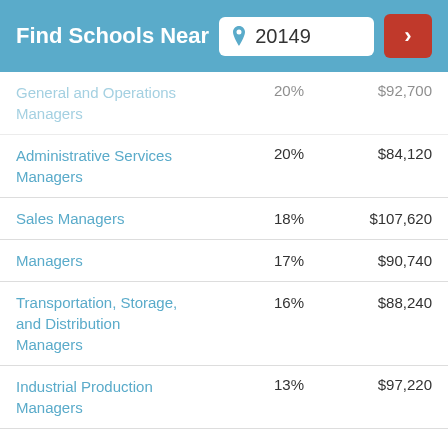Find Schools Near 20149
| Occupation | Growth | Median Salary |
| --- | --- | --- |
| General and Operations Managers | 20% | $92,700 |
| Administrative Services Managers | 20% | $84,120 |
| Sales Managers | 18% | $107,620 |
| Managers | 17% | $90,740 |
| Transportation, Storage, and Distribution Managers | 16% | $88,240 |
| Industrial Production Managers | 13% | $97,220 |